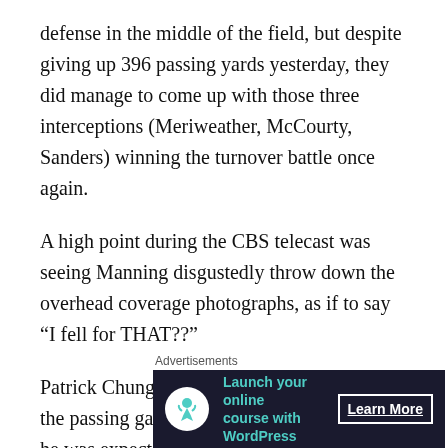defense in the middle of the field, but despite giving up 396 passing yards yesterday, they did manage to come up with those three interceptions (Meriweather, McCourty, Sanders) winning the turnover battle once again.
A high point during the CBS telecast was seeing Manning disgustedly throw down the overhead coverage photographs, as if to say “I fell for THAT??”
Patrick Chung was routinely getting beaten in the passing game, though it seemed at times he was expecting one of his teammates to be in a different
Advertisements
[Figure (other): Advertisement banner for WordPress online course with dark navy background, circular white icon with person/tree graphic, teal text 'Launch your online course with WordPress', and 'Learn More' button.]